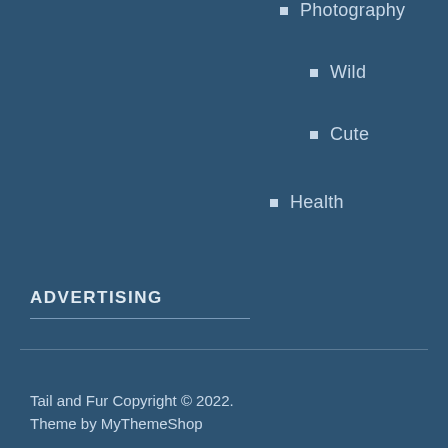Photography
Wild
Cute
Health
ADVERTISING
Tail and Fur Copyright © 2022.
Theme by MyThemeShop